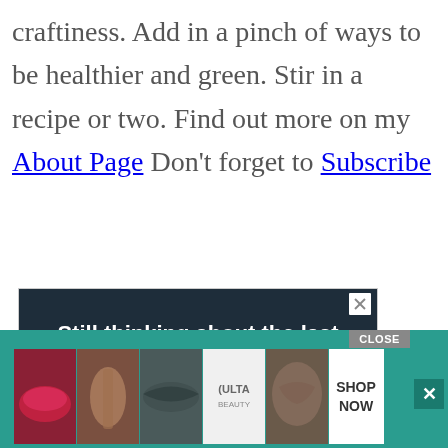craftiness. Add in a pinch of ways to be healthier and green. Stir in a recipe or two. Find out more on my About Page Don't forget to Subscribe
[Figure (other): Advertisement for TABC (Teen Author Boot Camp) conference: dark background with crowd of audience, headline 'Still thinking about the last TABC conference?', subtext 'Revisit your favorite writing workshops from Teen Author Boot Camp 24/7', and a 'Get Started!' button. Has a close X button in top-right.]
[Figure (other): Bottom advertisement banner for Ulta Beauty on a teal background. Shows strip of makeup images (lips, brush, eyes, Ulta logo, face), SHOP NOW button, close X button, and a gray CLOSE label above.]